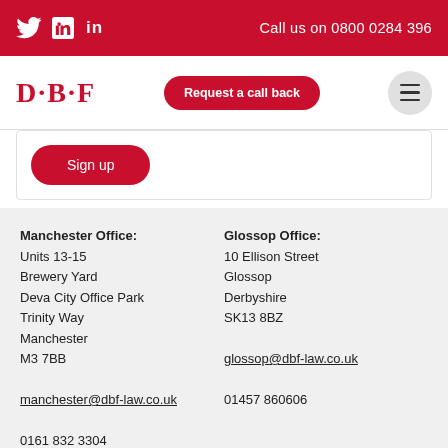Call us on 0800 0284 396
[Figure (logo): DBF Law logo with D·B·F text in red serif font]
Request a call back
Sign up
Manchester Office:
Units 13-15
Brewery Yard
Deva City Office Park
Trinity Way
Manchester
M3 7BB

manchester@dbf-law.co.uk

0161 832 3304
Glossop Office:
10 Ellison Street
Glossop
Derbyshire
SK13 8BZ

glossop@dbf-law.co.uk

01457 860606